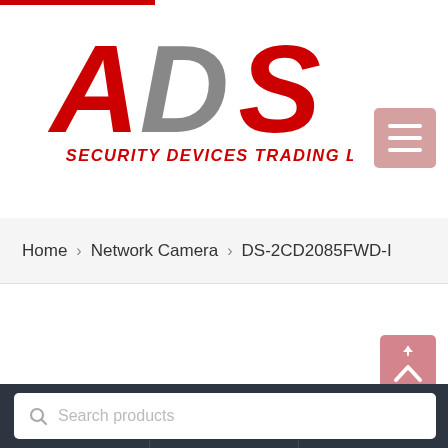[Figure (logo): ADS Security Devices Trading LLC logo with large red A, gray D, red S letters and red italic text below]
[Figure (other): Pink/rose colored hamburger menu button with three white horizontal bars]
Home > Network Camera > DS-2CD2085FWD-I
[Figure (other): Pink scroll-to-top button with upward chevron arrow]
Search products
[Figure (other): Bottom navigation bar with search icon, heart/wishlist icon with 0 badge, and cart/refresh icon with 0 badge]